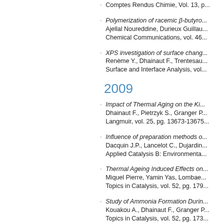Comptes Rendus Chimie, Vol. 13, p...
Polymerization of racemic β-butyro... Ajellal Noureddine, Durieux Guillau... Chemical Communications, vol. 46...
XPS investigation of surface chang... Renème Y., Dhainaut F., Trentesau... Surface and Interface Analysis, vol...
2009
Impact of Thermal Aging on the Ki... Dhainaut F., Pietrzyk S., Granger P... Langmuir, vol. 25, pg. 13673-13675...
Influence of preparation methods o... Dacquin J.P., Lancelot C., Dujardin... Applied Catalysis B: Environmenta...
Thermal Ageing Induced Effects on... Miquel Pierre, Yamin Yas, Lombae... Topics in Catalysis, vol. 52, pg. 179...
Study of Ammonia Formation Durin... Kouakou A., Dhainaut F., Granger P... Topics in Catalysis, vol. 52, pg. 173...
Catalytic Post-Treatment of Autome... Renème Y., Dhainaut F., Granger P... Topics in Catalysis, vol. 52, pg. 200...
Support modification to improve th...